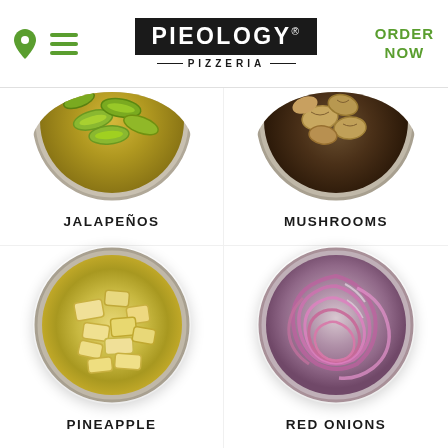Pieology Pizzeria — navigation header with location icon, hamburger menu, logo, and ORDER NOW link
[Figure (photo): Top-down view of jalapeños in a metal bowl, partially cropped at top]
JALAPEÑOS
[Figure (photo): Top-down view of mushrooms in a metal bowl, partially cropped at top]
MUSHROOMS
[Figure (photo): Top-down view of pineapple chunks in a metal bowl]
PINEAPPLE
[Figure (photo): Top-down view of sliced red onions in a metal bowl]
RED ONIONS